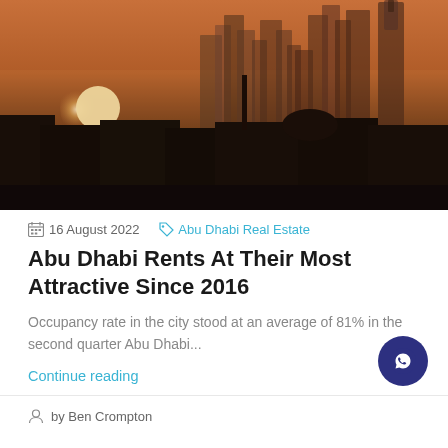[Figure (photo): Aerial cityscape of Abu Dhabi at sunset/dusk showing skyscrapers silhouetted against an orange sky with a large sun visible on the left]
16 August 2022  Abu Dhabi Real Estate
Abu Dhabi Rents At Their Most Attractive Since 2016
Occupancy rate in the city stood at an average of 81% in the second quarter Abu Dhabi...
Continue reading
by Ben Crompton